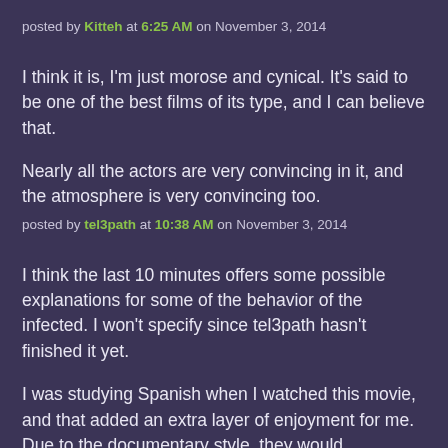posted by Kitteh at 6:25 AM on November 3, 2014
I think it is, I'm just morose and cynical. It's said to be one of the best films of its type, and I can believe that.
Nearly all the actors are very convincing in it, and the atmosphere is very convincing too.
posted by tel3path at 10:38 AM on November 3, 2014
I think the last 10 minutes offers some possible explanations for some of the behavior of the infected. I won't specify since tel3path hasn't finished it yet.
I was studying Spanish when I watched this movie, and that added an extra layer of enjoyment for me. Due to the documentary style, they would constantly say what they